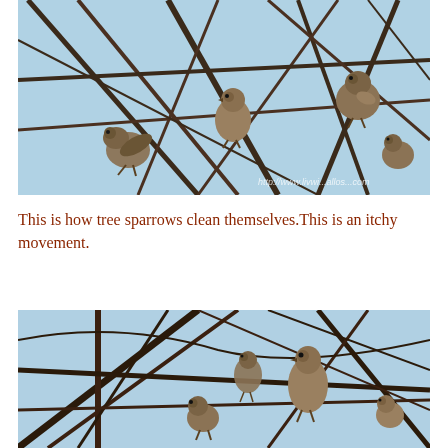[Figure (photo): Multiple tree sparrows perched on bare branches against a light blue sky, photographed from below. A watermark URL is visible at the bottom right of the image.]
This is how tree sparrows clean themselves.This is an itchy movement.
[Figure (photo): Tree sparrows perched on bare branches against a light blue sky, photographed from below, showing birds in various poses including grooming behavior.]